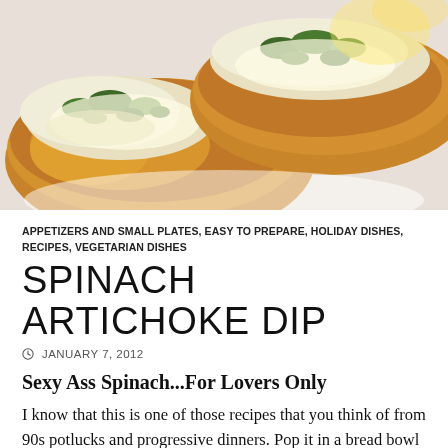[Figure (photo): Close-up photo of spinach artichoke dip served on toasted bread slices on a white plate]
APPETIZERS AND SMALL PLATES, EASY TO PREPARE, HOLIDAY DISHES, RECIPES, VEGETARIAN DISHES
SPINACH ARTICHOKE DIP
JANUARY 7, 2012
Sexy Ass Spinach...For Lovers Only
I know that this is one of those recipes that you think of from 90s potlucks and progressive dinners. Pop it in a bread bowl and you are completely with the era. But I still go back to this recipe for the winning combination of flavors and the lack of